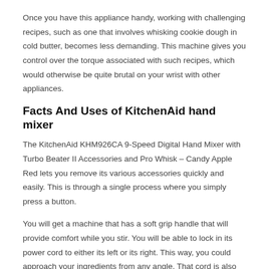Once you have this appliance handy, working with challenging recipes, such as one that involves whisking cookie dough in cold butter, becomes less demanding. This machine gives you control over the torque associated with such recipes, which would otherwise be quite brutal on your wrist with other appliances.
Facts And Uses of KitchenAid hand mixer
The KitchenAid KHM926CA 9-Speed Digital Hand Mixer with Turbo Beater II Accessories and Pro Whisk – Candy Apple Red lets you remove its various accessories quickly and easily. This is through a single process where you simply press a button.
You will get a machine that has a soft grip handle that will provide comfort while you stir. You will be able to lock in its power cord to either its left or its right. This way, you could approach your ingredients from any angle. That cord is also relatively easy to clean.